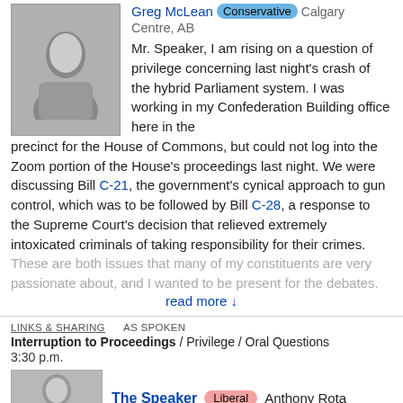[Figure (photo): Headshot photo of Greg McLean, a man in a suit]
Greg McLean Conservative Calgary Centre, AB
Mr. Speaker, I am rising on a question of privilege concerning last night's crash of the hybrid Parliament system. I was working in my Confederation Building office here in the precinct for the House of Commons, but could not log into the Zoom portion of the House's proceedings last night. We were discussing Bill C-21, the government's cynical approach to gun control, which was to be followed by Bill C-28, a response to the Supreme Court's decision that relieved extremely intoxicated criminals of taking responsibility for their crimes. These are both issues that many of my constituents are very passionate about, and I wanted to be present for the debates.
read more ↓
LINKS & SHARING   AS SPOKEN
Interruption to Proceedings / Privilege / Oral Questions
3:30 p.m.
[Figure (photo): Headshot photo of The Speaker, Anthony Rota]
The Speaker Liberal Anthony Rota